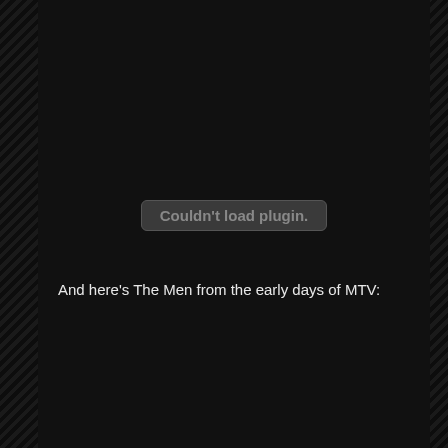[Figure (screenshot): Plugin error message box with text 'Couldn't load plugin.' displayed on a dark background, centered in the upper portion of the page]
And here’s The Men from the early days of MTV: